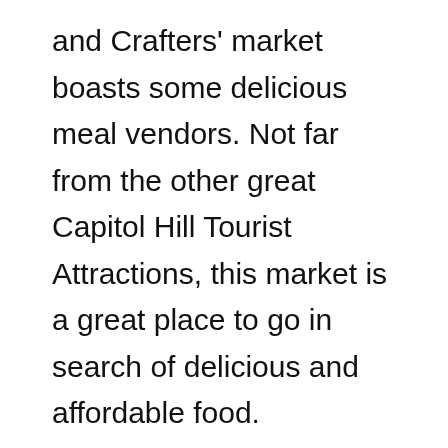and Crafters' market boasts some delicious meal vendors. Not far from the other great Capitol Hill Tourist Attractions, this market is a great place to go in search of delicious and affordable food.
This small market will not take you longer than an hour to peruse unless you stop and sit down to eat. Afterwards, head back to the National Mall to continue exploring or catch the Metro up to Union Station and head to the Postal Museum.
⛕ Address: 225 7th St SE, Washington, DC